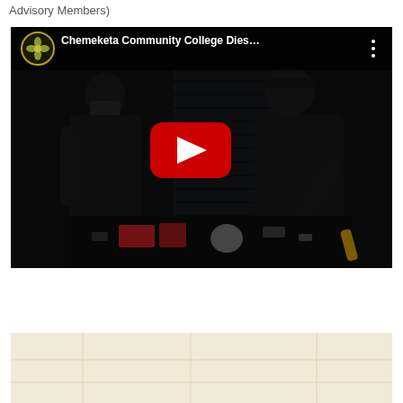Advisory Members)
[Figure (screenshot): YouTube video thumbnail showing 'Chemeketa Community College Dies...' with two people in dark clothing working on mechanical equipment. A red YouTube play button is visible in the center. The video has a dark overlay with the YouTube interface showing channel logo and title bar at top.]
[Figure (map): Partial map view with a light beige/cream background, appearing to show a geographic map area.]